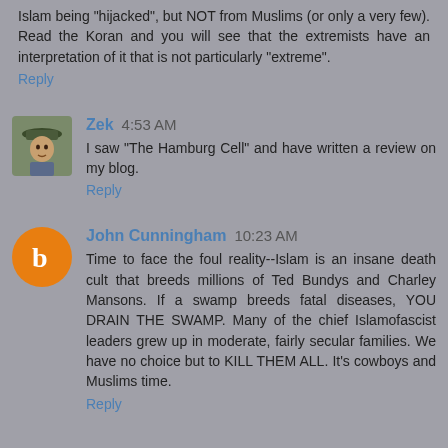Islam being "hijacked", but NOT from Muslims (or only a very few). Read the Koran and you will see that the extremists have an interpretation of it that is not particularly "extreme".
Reply
Zek  4:53 AM
I saw "The Hamburg Cell" and have written a review on my blog.
Reply
John Cunningham  10:23 AM
Time to face the foul reality--Islam is an insane death cult that breeds millions of Ted Bundys and Charley Mansons. If a swamp breeds fatal diseases, YOU DRAIN THE SWAMP. Many of the chief Islamofascist leaders grew up in moderate, fairly secular families. We have no choice but to KILL THEM ALL. It's cowboys and Muslims time.
Reply